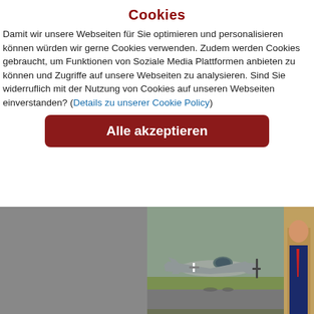Cookies
Damit wir unsere Webseiten für Sie optimieren und personalisieren können würden wir gerne Cookies verwenden. Zudem werden Cookies gebraucht, um Funktionen von Soziale Media Plattformen anbieten zu können und Zugriffe auf unsere Webseiten zu analysieren. Sind Sie widerruflich mit der Nutzung von Cookies auf unseren Webseiten einverstanden? (Details zu unserer Cookie Policy)
[Figure (screenshot): Button 'Alle akzeptieren' in dark red/maroon rounded rectangle]
[Figure (photo): Gray placeholder image on the left side]
[Figure (photo): WWII German military aircraft (Focke-Wulf Fw 190) on a runway with grass in background]
[Figure (photo): Partial photo of a person on the right edge]
DAY OF THE BUSINESS PARKS O
At this event different local companies present themselves and their portfolios, youths have training about the different jobs and their e... the schools with the local companies. At ou... potential candidates about their job.